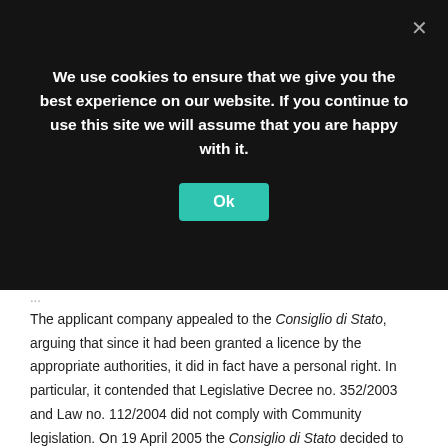We use cookies to ensure that we give you the best experience on our website. If you continue to use this site we will assume that you are happy with it.
The applicant company appealed to the Consiglio di Stato, arguing that since it had been granted a licence by the appropriate authorities, it did in fact have a personal right. In particular, it contended that Legislative Decree no. 352/2003 and Law no. 112/2004 did not comply with Community legislation. On 19 April 2005 the Consiglio di Stato decided to restrict its examination to the applicant company's claim for damages and not to rule at that stage on the request for allocation of frequencies.  It nevertheless observed that the failure to allocate frequencies to Centro Europa 7 S.r.l. had been due to essentially legislative factors.It noted that section 3(2) of Law no. 249/1997 () enabled the "de facto occupants" of radio frequencies